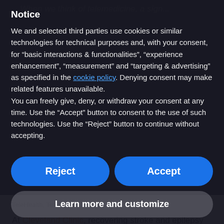Notice
We and selected third parties use cookies or similar technologies for technical purposes and, with your consent, for “basic interactions & functionalities”, “experience enhancement”, “measurement” and “targeting & advertising” as specified in the cookie policy. Denying consent may make related features unavailable.
You can freely give, deny, or withdraw your consent at any time. Use the “Accept” button to consent to the use of such technologies. Use the “Reject” button to continue without accepting.
Reject
Accept
Learn more and customize
TeleHealth, TeleMedicine / by Admin_NH
At Cleveland Clinic, recovering stroke and epilepsy